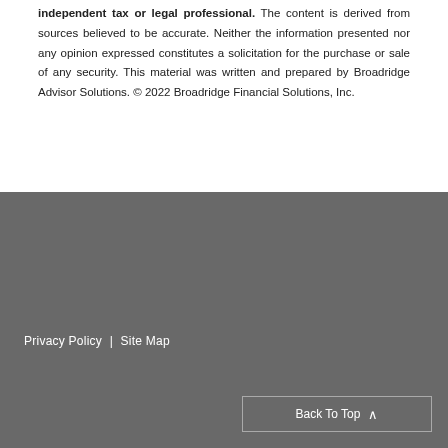independent tax or legal professional. The content is derived from sources believed to be accurate. Neither the information presented nor any opinion expressed constitutes a solicitation for the purchase or sale of any security. This material was written and prepared by Broadridge Advisor Solutions. © 2022 Broadridge Financial Solutions, Inc.
Privacy Policy | Site Map
Back To Top ∧